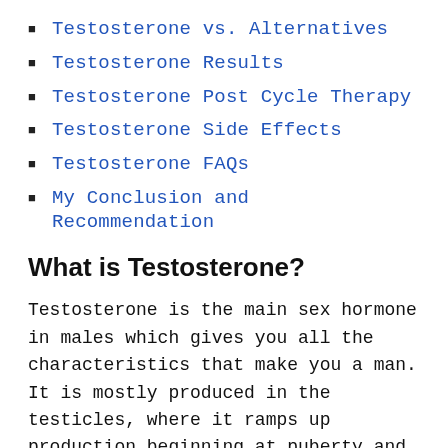Testosterone vs. Alternatives
Testosterone Results
Testosterone Post Cycle Therapy
Testosterone Side Effects
Testosterone FAQs
My Conclusion and Recommendation
What is Testosterone?
Testosterone is the main sex hormone in males which gives you all the characteristics that make you a man. It is mostly produced in the testicles, where it ramps up production beginning at puberty and continuing at full throttle until you're